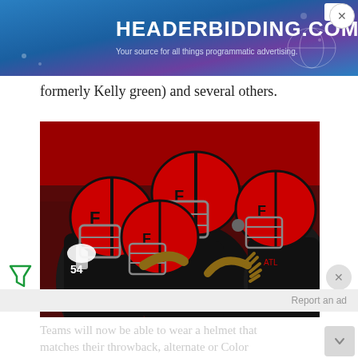[Figure (screenshot): HEADERBIDDING.COM advertisement banner at top of page with blue/purple gradient background. Text: 'HEADERBIDDING.COM' in large white bold font. Subtitle: 'Your source for all things programmatic advertising.']
formerly Kelly green) and several others.
[Figure (photo): Atlanta Falcons football players in red and black helmets and uniforms celebrating on the field. Multiple players wearing red Falcons helmets with the Falcons logo are shown huddled together. Player #54 is visible on the left.]
Report an ad
Teams will now be able to wear a helmet that matches their throwback, alternate or Color Rush uniforms for the first time since the